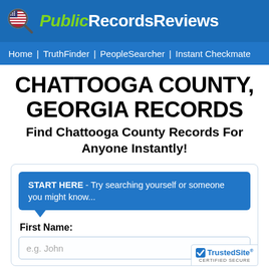PublicRecordsReviews
Home | TruthFinder | PeopleSearcher | Instant Checkmate
CHATTOOGA COUNTY, GEORGIA RECORDS
Find Chattooga County Records For Anyone Instantly!
START HERE - Try searching yourself or someone you might know...
First Name:
e.g. John
[Figure (logo): TrustedSite Certified Secure badge]